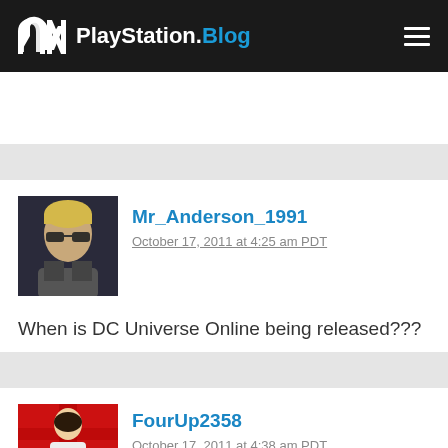PlayStation.Blog
Mr_Anderson_1991
October 17, 2011 at 4:25 am PDT

When is DC Universe Online being released???
FourUp2358
October 17, 2011 at 4:38 am PDT